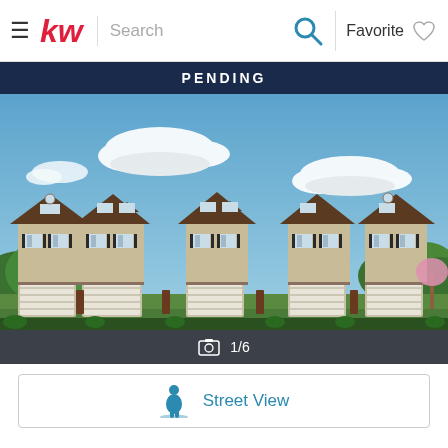kw Search | Favorite
PENDING
[Figure (photo): Rendering of a row of townhomes with brown roofs, tan siding, brick lower level, white garage doors, green trees on both sides, blue sky with white clouds]
1/6
Street View